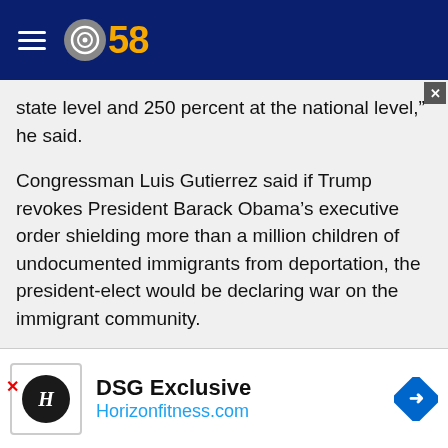CBS 58
state level and 250 percent at the national level,” he said.
Congressman Luis Gutierrez said if Trump revokes President Barack Obama’s executive order shielding more than a million children of undocumented immigrants from deportation, the president-elect would be declaring war on the immigrant community.
Share this article:
[Figure (screenshot): Social share buttons: Facebook, Twitter, Email]
[Figure (screenshot): Advertisement banner: DSG Exclusive, Horizonfitness.com with Horizon Fitness logo and navigation arrow]